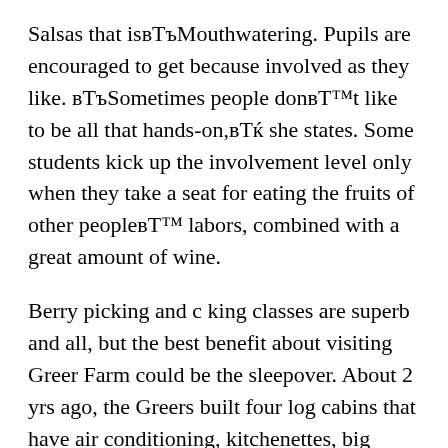Salsas that isвЂњMouthwatering. Pupils are encouraged to get because involved as they like. вЂњSometimes people donвЂ™t like to be all that hands-on,вЂќ she states. Some students kick up the involvement level only when they take a seat for eating the fruits of other peopleвЂ™ labors, combined with a great amount of wine.
Berry picking and c king classes are superb and all, but the best benefit about visiting Greer Farm could be the sleepover. About 2 yrs ago, the Greers built four log cabins that have air conditioning, kitchenettes, big bathr ms, flat-screen televisions with satellite, and wi-fi. (That cordless comes in handy. Cell solution is iffy at most readily useful.) The cabins, complete with